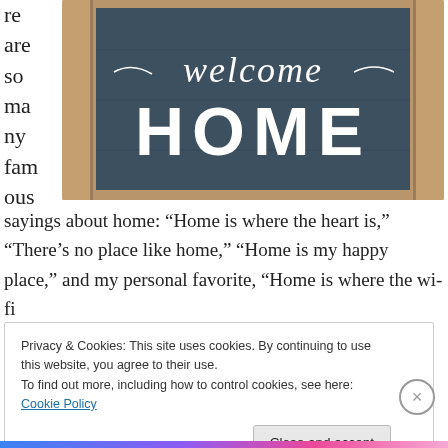re are so many famous
[Figure (photo): A wooden 'welcome HOME' sign mounted on a wooden plank wall. The sign has a dark navy/slate blue background with white script text reading 'welcome' in cursive at the top and 'HOME' in large bold block letters below.]
sayings about home: “Home is where the heart is,” “There’s no place like home,” “Home is my happy place,” and my personal favorite, “Home is where the wi-fi
Privacy & Cookies: This site uses cookies. By continuing to use this website, you agree to their use.
To find out more, including how to control cookies, see here: Cookie Policy
Close and accept